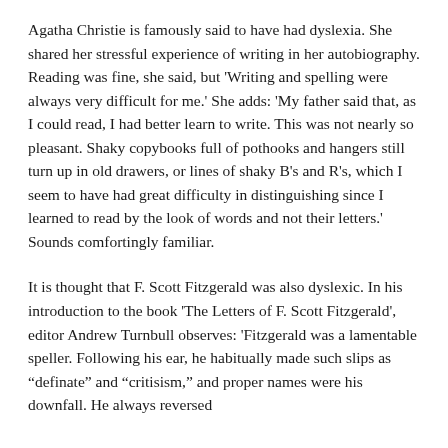Agatha Christie is famously said to have had dyslexia. She shared her stressful experience of writing in her autobiography. Reading was fine, she said, but 'Writing and spelling were always very difficult for me.' She adds: 'My father said that, as I could read, I had better learn to write. This was not nearly so pleasant. Shaky copybooks full of pothooks and hangers still turn up in old drawers, or lines of shaky B's and R's, which I seem to have had great difficulty in distinguishing since I learned to read by the look of words and not their letters.' Sounds comfortingly familiar.
It is thought that F. Scott Fitzgerald was also dyslexic. In his introduction to the book 'The Letters of F. Scott Fitzgerald', editor Andrew Turnbull observes: 'Fitzgerald was a lamentable speller. Following his ear, he habitually made such slips as "definate" and "critisism," and proper names were his downfall. He always reversed